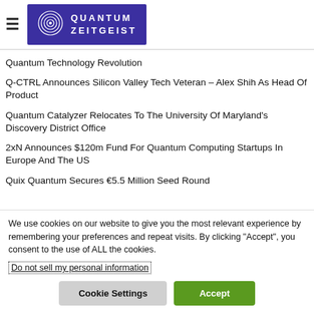Quantum Zeitgeist
Quantum Technology Revolution
Q-CTRL Announces Silicon Valley Tech Veteran – Alex Shih As Head Of Product
Quantum Catalyzer Relocates To The University Of Maryland's Discovery District Office
2xN Announces $120m Fund For Quantum Computing Startups In Europe And The US
Quix Quantum Secures €5.5 Million Seed Round
We use cookies on our website to give you the most relevant experience by remembering your preferences and repeat visits. By clicking "Accept", you consent to the use of ALL the cookies.
Do not sell my personal information